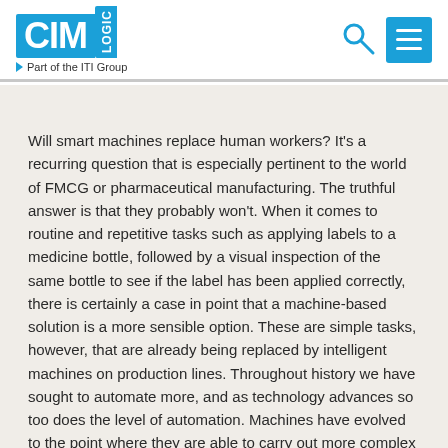[Figure (logo): CIM Logic logo with 'Part of the ITI Group' tagline, search icon, and hamburger menu icon on white header bar]
Will smart machines replace human workers? It's a recurring question that is especially pertinent to the world of FMCG or pharmaceutical manufacturing. The truthful answer is that they probably won't. When it comes to routine and repetitive tasks such as applying labels to a medicine bottle, followed by a visual inspection of the same bottle to see if the label has been applied correctly, there is certainly a case in point that a machine-based solution is a more sensible option. These are simple tasks, however, that are already being replaced by intelligent machines on production lines. Throughout history we have sought to automate more, and as technology advances so too does the level of automation. Machines have evolved to the point where they are able to carry out more complex cognitive work, involving equations with multiple variables, comprehensive quality checks, and the ability to recognise speech and writing. Machines can now replicate our minds as well as our bodies. For some, this is a worrying trend, leading to a zero-sum solution where no job will be safe from intelligent automation. There is a growing fear that humans will no longer be part